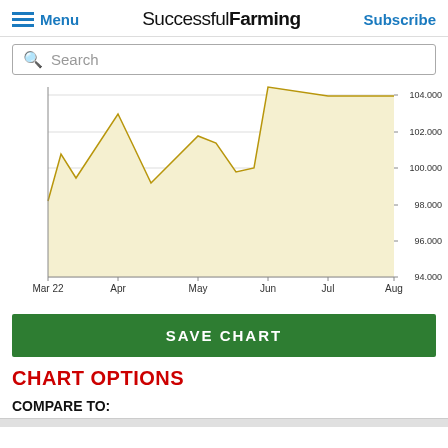Menu  Successful Farming  Subscribe
Search
[Figure (area-chart): Price chart Mar 22 - Aug]
SAVE CHART
CHART OPTIONS
COMPARE TO: